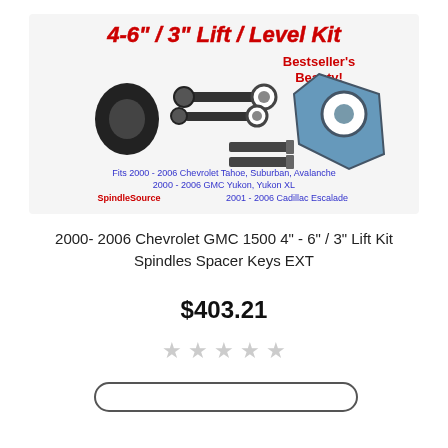[Figure (photo): Product image showing lift kit components including spindles, spacers, and keys for 2000-2006 Chevrolet GMC 1500. Text on image reads '4-6" / 3" Lift / Level Kit', 'Bestseller's Beauty!', 'Fits 2000-2006 Chevrolet Tahoe, Suburban, Avalanche, 2000-2006 GMC Yukon, Yukon XL', 'Spindle Source: 2001-2006 Cadillac Escalade']
2000-2006 Chevrolet GMC 1500 4" - 6" / 3" Lift Kit Spindles Spacer Keys EXT
$403.21